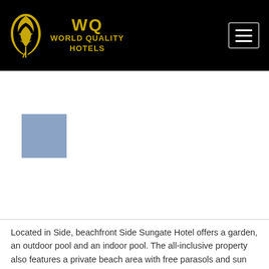[Figure (logo): World Quality Hotels logo with golden leaf and text on black background]
[Figure (photo): Placeholder image area with a blue/grey square visible, representing a hotel photo]
Located in Side, beachfront Side Sungate Hotel offers a garden, an outdoor pool and an indoor pool. The all-inclusive property also features a private beach area with free parasols and sun loungers. An array of activities can be enjoyed on site or in the surroundings, including table tennis, cycling and a water park.
Modernly decorated, each room here will provide you with flat-screen satellite TV, electric kettle, air conditioning and a minibar.